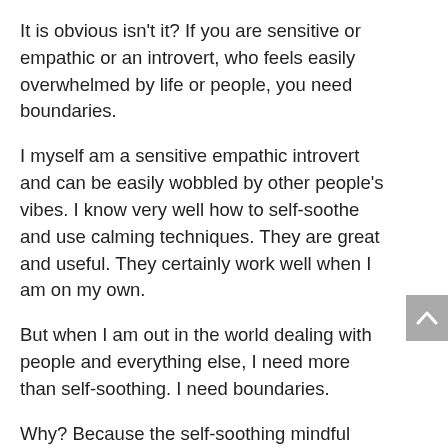It is obvious isn't it? If you are sensitive or empathic or an introvert, who feels easily overwhelmed by life or people, you need boundaries.
I myself am a sensitive empathic introvert and can be easily wobbled by other people's vibes. I know very well how to self-soothe and use calming techniques. They are great and useful. They certainly work well when I am on my own.
But when I am out in the world dealing with people and everything else, I need more than self-soothing. I need boundaries.
Why? Because the self-soothing mindful calming techniques will, in fact, just make me more of a passive sponge.